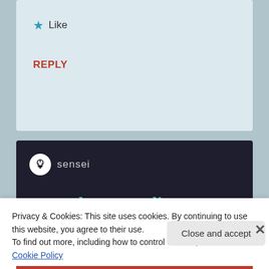★ Like
REPLY
[Figure (screenshot): Sensei advertisement banner on dark background. Shows Sensei logo (tree icon in white circle), tagline 'Launch your online course with WordPress' in teal, and a 'Learn More' button in teal rounded rectangle.]
Privacy & Cookies: This site uses cookies. By continuing to use this website, you agree to their use.
To find out more, including how to control cookies, see here: Cookie Policy
Close and accept